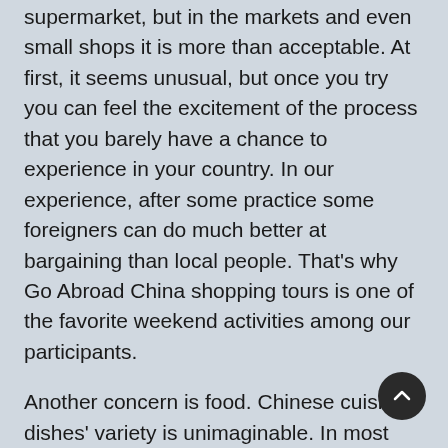supermarket, but in the markets and even small shops it is more than acceptable. At first, it seems unusual, but once you try you can feel the excitement of the process that you barely have a chance to experience in your country. In our experience, after some practice some foreigners can do much better at bargaining than local people. That's why Go Abroad China shopping tours is one of the favorite weekend activities among our participants.
Another concern is food. Chinese cuisine dishes' variety is unimaginable. In most restaurants you will be provided with an English version of the menu. If you are lucky enough to get to a place that doesn't provide it, there will always be at least pictures of the dishes offered. But for those who are not ready for experiments western food restaurants are always there.
Safety is another important issue. Nobody can guaranty that nothing ever can happen to you, but here you can feel